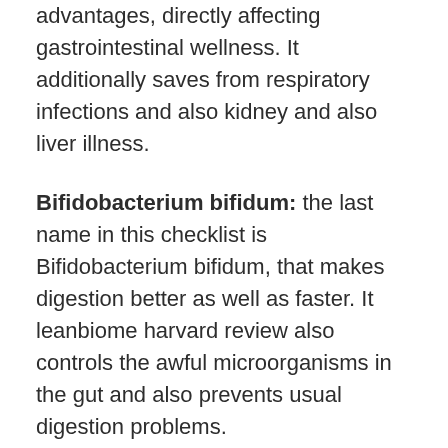advantages, directly affecting gastrointestinal wellness. It additionally saves from respiratory infections and also kidney and also liver illness.
Bifidobacterium bifidum: the last name in this checklist is Bifidobacterium bifidum, that makes digestion better as well as faster. It leanbiome harvard review also controls the awful microorganisms in the gut and also prevents usual digestion problems.
Inulin: This component is prebiotic, which regulates defecation as well as help in digestion. Without inulin, issues such as unwanted gas, irregular bowel movements, and also level of acidity might show up, making food digestion unpleasant. Along with that, inulin assists in the